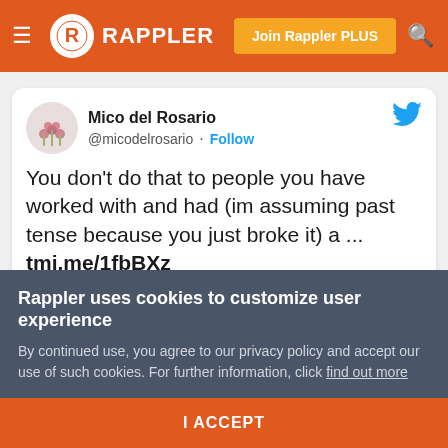[Figure (screenshot): Rappler website navigation bar with hamburger menu, Rappler logo, Join Rappler PLUS button, and search icon on orange background]
[Figure (screenshot): Embedded tweet from Mico del Rosario (@micodelrosario) reading: You don't do that to people you have worked with and had (im assuming past tense because you just broke it) a ... tmi.me/1fbBXz. Timestamp: 6:36 AM · Jan 9, 2016]
Rappler uses cookies to customize user experience
By continued use, you agree to our privacy policy and accept our use of such cookies. For further information, click find out more
I ACCEPT